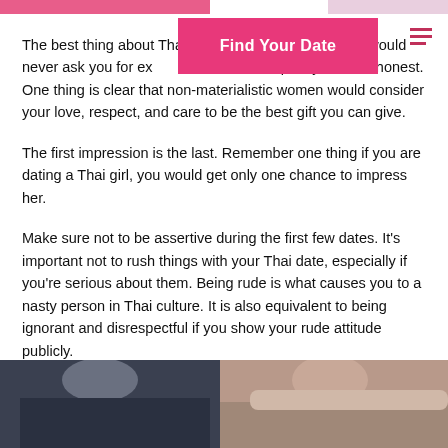The best thing about Thai women is very simple; they would never ask you for expensive gifts and expect you to be honest. One thing is clear that non-materialistic women would consider your love, respect, and care to be the best gift you can give.
The first impression is the last. Remember one thing if you are dating a Thai girl, you would get only one chance to impress her.
Make sure not to be assertive during the first few dates. It's important not to rush things with your Thai date, especially if you're serious about them. Being rude is what causes you to a nasty person in Thai culture. It is also equivalent to being ignorant and disrespectful if you show your rude attitude publicly.
Intimacy is forbidden
[Figure (photo): A couple sitting together outdoors, man on left in dark jacket, woman on right with light fur collar coat]